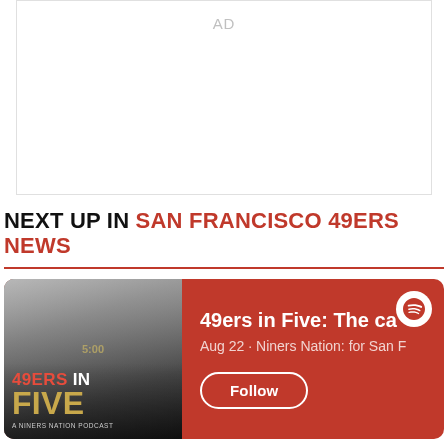[Figure (other): Advertisement placeholder area with 'AD' text label]
NEXT UP IN SAN FRANCISCO 49ERS NEWS
[Figure (other): Spotify podcast card for '49ers in Five: The ca...' - Aug 22 · Niners Nation: for San F, with Follow button and Spotify logo on red background]